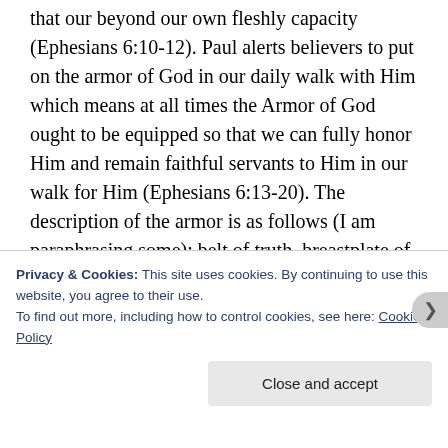that our beyond our own fleshly capacity (Ephesians 6:10-12). Paul alerts believers to put on the armor of God in our daily walk with Him which means at all times the Armor of God ought to be equipped so that we can fully honor Him and remain faithful servants to Him in our walk for Him (Ephesians 6:13-20). The description of the armor is as follows (I am paraphrasing some): belt of truth, breastplate of righteousness, shoes of the Gospel and the peace that comes from it, shield of faith, helmet of salvation, and the sword of the Spirit (word of God). But there is more, believers are also called to pray always and always in the Spirit and be ever watchful
Privacy & Cookies: This site uses cookies. By continuing to use this website, you agree to their use.
To find out more, including how to control cookies, see here: Cookie Policy
Close and accept